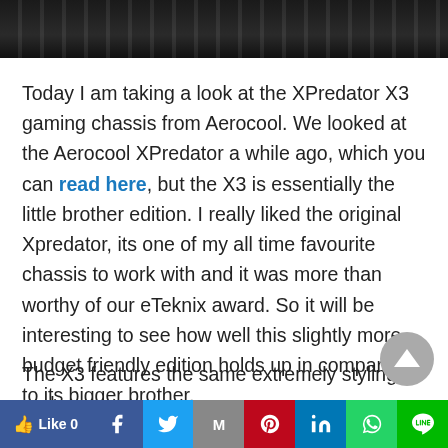[Figure (photo): Dark gaming chassis photo strip at top of page]
Today I am taking a look at the XPredator X3 gaming chassis from Aerocool. We looked at the Aerocool XPredator a while ago, which you can read here, but the X3 is essentially the little brother edition. I really liked the original Xpredator, its one of my all time favourite chassis to work with and it was more than worthy of our eTeknix award. So it will be interesting to see how well this slightly more budget friendly edition holds up in comparison to its bigger brother.
The X3 features the same extremely styling and